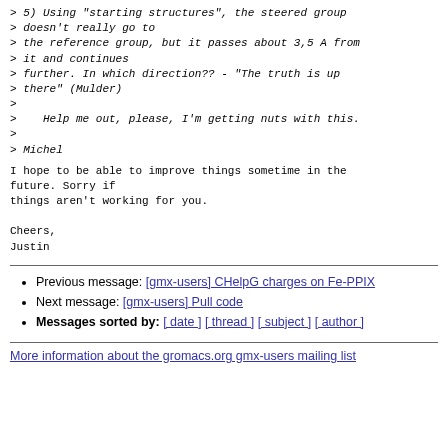> 5) Using "starting structures", the steered group doesn't really go to
> the reference group, but it passes about 3,5 A from it and continues
> further. In which direction?? - "The truth is up there" (Mulder)
>
>    Help me out, please, I'm getting nuts with this.
>
> Michel
I hope to be able to improve things sometime in the future. Sorry if
things aren't working for you.

Cheers,
Justin
Previous message: [gmx-users] CHelpG charges on Fe-PPIX
Next message: [gmx-users] Pull code
Messages sorted by: [ date ] [ thread ] [ subject ] [ author ]
More information about the gromacs.org gmx-users mailing list